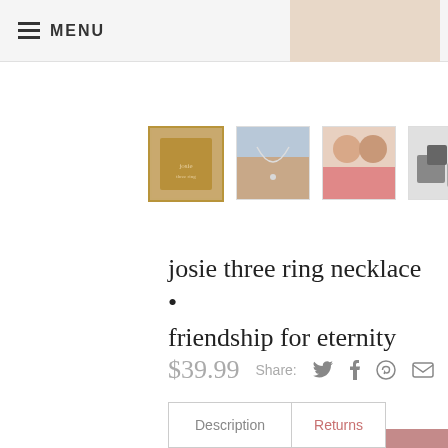MENU   CART
[Figure (photo): Four product thumbnail images: gold packaging box, necklace on model neck, two women wearing necklaces, grey gift boxes]
josie three ring necklace • friendship for eternity
$39.99   Share:
Qty:
1
ADD TO CART
Description   Returns